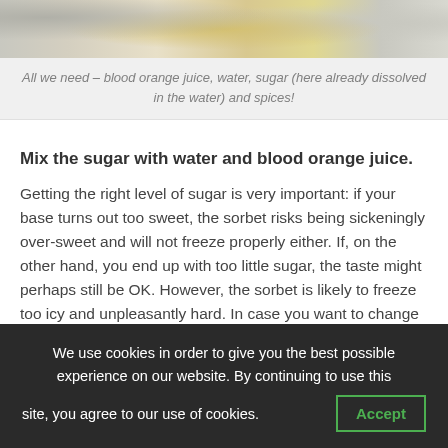[Figure (photo): Close-up food photograph showing ingredients: appears to show sugar, liquid, and spices on a granite or speckled surface]
All we need – blood orange juice, water, sugar (here already dissolved in the water) and spices!
Mix the sugar with water and blood orange juice.
Getting the right level of sugar is very important: if your base turns out too sweet, the sorbet risks being sickeningly over-sweet and will not freeze properly either. If, on the other hand, you end up with too little sugar, the taste might perhaps still be OK. However, the sorbet is likely to freeze too icy and unpleasantly hard. In case you want to change proportions or check this for
We use cookies in order to give you the best possible experience on our website. By continuing to use this site, you agree to our use of cookies.  Accept